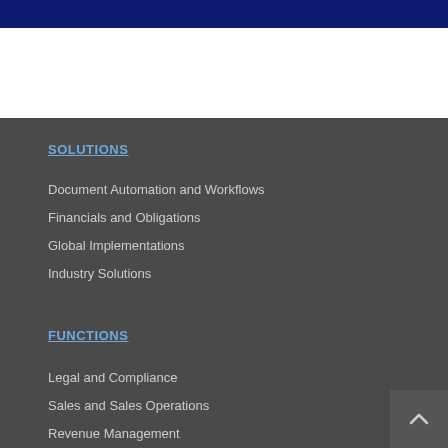SOLUTIONS
Document Automation and Workflows
Financials and Obligations
Global Implementations
Industry Solutions
FUNCTIONS
Legal and Compliance
Sales and Sales Operations
Revenue Management
Procurement